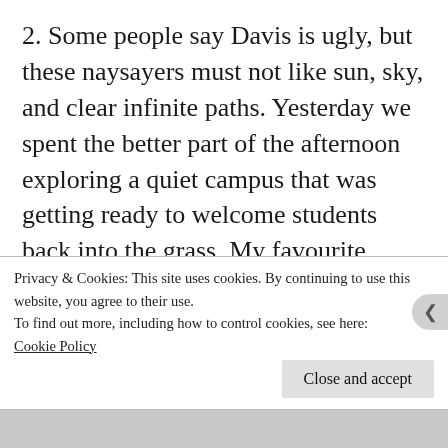2. Some people say Davis is ugly, but these naysayers must not like sun, sky, and clear infinite paths. Yesterday we spent the better part of the afternoon exploring a quiet campus that was getting ready to welcome students back into the grass. My favourite moments were those on the porch of Veihmeyer Hall, feet up on the cool stone benches, wondering how sunlight and cold can possibly co-exist. I am such a born and bred Singaporean that it feels slightly unnatural to have both, but I am
Privacy & Cookies: This site uses cookies. By continuing to use this website, you agree to their use.
To find out more, including how to control cookies, see here: Cookie Policy
Close and accept